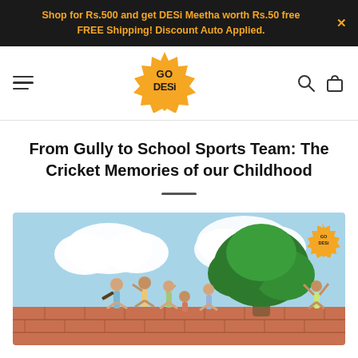Shop for Rs.500 and get DESi Meetha worth Rs.50 free FREE Shipping! Discount Auto Applied.
[Figure (logo): GO DESi orange sunburst badge logo in navigation bar]
From Gully to School Sports Team: The Cricket Memories of our Childhood
[Figure (illustration): Cartoon illustration of children playing cricket on a rooftop/gully, with a large green tree and blue sky with clouds. A GO DESi badge logo appears in the top right corner of the illustration.]